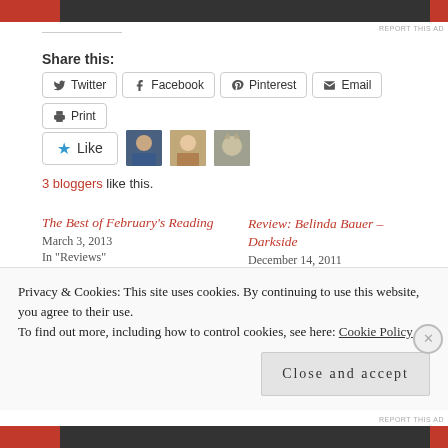[Figure (screenshot): Ad banner at top of page, dark grey/black background with red sections on left and right]
REPORT THIS AD
Share this:
Twitter  Facebook  Pinterest  Email  Print
[Figure (other): Like button with blue star and three blogger avatar images]
3 bloggers like this.
The Best of February's Reading
March 3, 2013
In "Reviews"
Review: Belinda Bauer – Darkside
December 14, 2011
In "Reviews"
CrimeFest: Friday's Panels
Privacy & Cookies: This site uses cookies. By continuing to use this website, you agree to their use.
To find out more, including how to control cookies, see here: Cookie Policy
Close and accept
[Figure (screenshot): Ad banner at bottom of page]